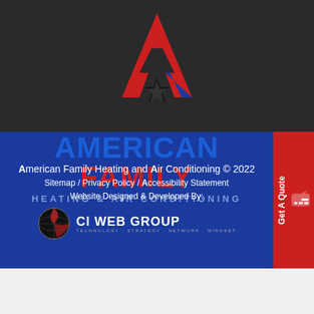[Figure (logo): American Family Heating & Air Conditioning logo — letter A shape in red/blue with star, dark background]
American Family Heating and Air Conditioning © 2022
Sitemap / Privacy Policy / Accessibility Statement
Website Designed & Developed By:
CI WEB GROUP — TECHNOLOGY . STRATEGY . NETWORK . MINDSET
[Figure (logo): CI Web Group logo with globe icon]